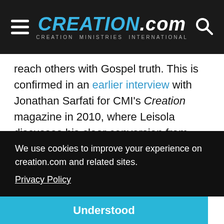CREATION.com — CREATION MINISTRIES INTERNATIONAL
reach others with Gospel truth. This is confirmed in an earlier interview with Jonathan Sarfati for CMI's Creation magazine in 2010, where Leisola discusses his clear conversion from atheism to Christianity.² In Heretic, Leisola discusses theistic evolution (TE) and makes some refreshing and candid admissions. I found myself holding my breath while reading, because he
We use cookies to improve your experience on creation.com and related sites.
Privacy Policy
Understood
myself was convinced of it in this way as a young